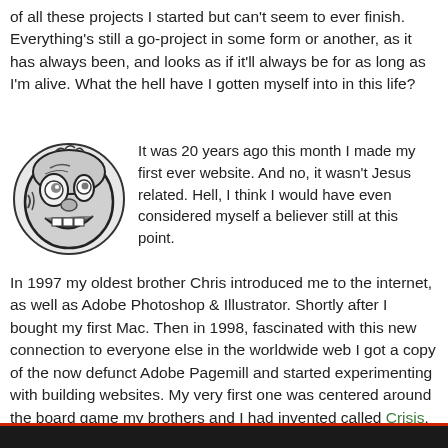of all these projects I started but can't seem to ever finish. Everything's still a go-project in some form or another, as it has always been, and looks as if it'll always be for as long as I'm alive. What the hell have I gotten myself into in this life?
[Figure (illustration): Black and white cartoon illustration of a round screaming/laughing character face with exaggerated features]
It was 20 years ago this month I made my first ever website. And no, it wasn't Jesus related. Hell, I think I would have even considered myself a believer still at this point.
In 1997 my oldest brother Chris introduced me to the internet, as well as Adobe Photoshop & Illustrator. Shortly after I bought my first Mac. Then in 1998, fascinated with this new connection to everyone else in the worldwide web I got a copy of the now defunct Adobe Pagemill and started experimenting with building websites. My very first one was centered around the board game my brothers and I had invented called Crisis.